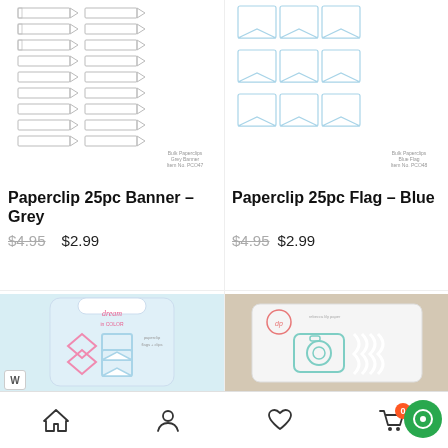[Figure (illustration): Grid of grey banner/ribbon shaped paperclip outlines, product photo for Bulk Paperclips Grey Banner, Item No. PCO47]
[Figure (illustration): Grid of blue flag shaped paperclip outlines, product photo for Bulk Paperclips Blue Flag, Item No. PCO48]
Paperclip 25pc Banner – Grey
$4.95  $2.99
Paperclip 25pc Flag – Blue
$4.95  $2.99
[Figure (photo): Product packaging photo showing Dream in Color paperclips with chevron and flag shapes in pink and blue]
[Figure (photo): Lifestyle photo showing paperclip shapes on a white tray with burlap background]